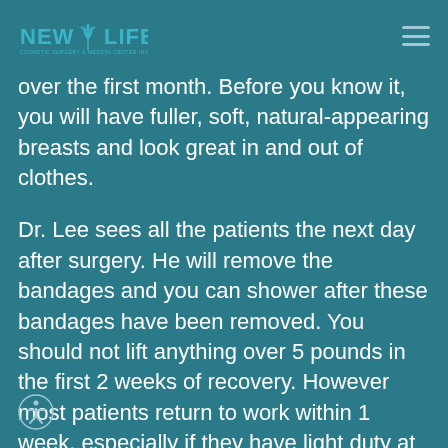NEW LIFE
over the first month. Before you know it, you will have fuller, soft, natural-appearing breasts and look great in and out of clothes.
Dr. Lee sees all the patients the next day after surgery. He will remove the bandages and you can shower after these bandages have been removed. You should not lift anything over 5 pounds in the first 2 weeks of recovery. However most patients return to work within 1 week, especially if they have light duty at work. Remember everyone heals at different time intervals.